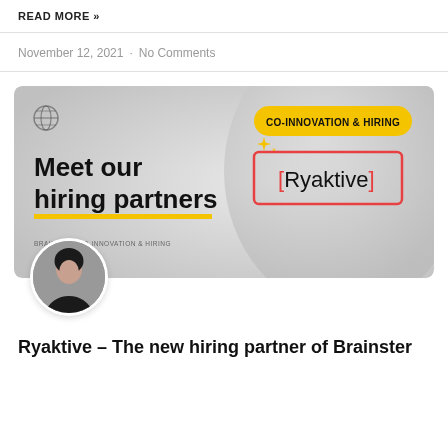READ MORE »
November 12, 2021 · No Comments
[Figure (illustration): Banner image for Brainster hiring partner article. Shows 'Meet our hiring partners' text with yellow underline on gray gradient background, a yellow pill badge saying 'CO-INNOVATION & HIRING', and a red-bracketed [Ryaktive] logo on the right. A circular globe icon is in the top left. A woman's circular avatar photo appears at the bottom left.]
Ryaktive – The new hiring partner of Brainster